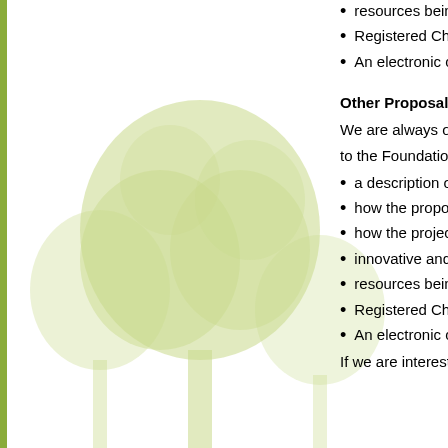resources being soug
Registered Charitable
An electronic copy of
Other Proposals — Hav
We are always open to ir
to the Foundation's exec
a description of your p
how the proposal fits
how the project will st
innovative and/or stra
resources being soug
Registered Charitable
An electronic copy of
If we are interested in yo